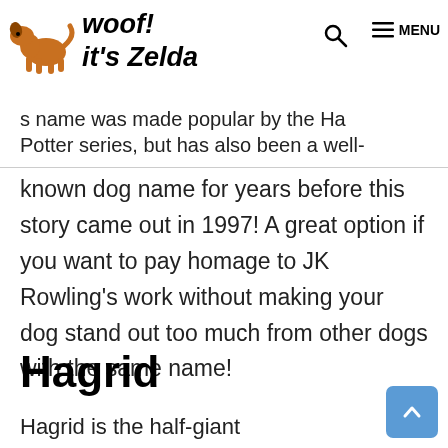woof! it's Zelda — MENU
s name was made popular by the Ha Potter series, but has also been a well-known dog name for years before this story came out in 1997! A great option if you want to pay homage to JK Rowling's work without making your dog stand out too much from other dogs with the same name!
Hagrid
Hagrid is the half-giant groundskeeper of Ho...